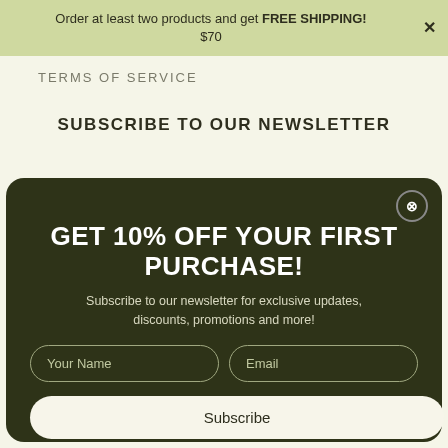Order at least two products and get FREE SHIPPING! $70
TERMS OF SERVICE
SUBSCRIBE TO OUR NEWSLETTER
GET 10% OFF YOUR FIRST PURCHASE!
Subscribe to our newsletter for exclusive updates, discounts, promotions and more!
Your Name
Email
Subscribe